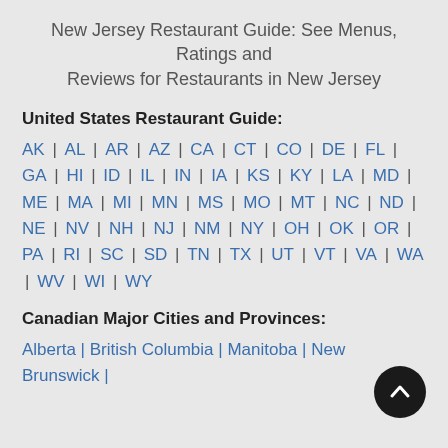New Jersey Restaurant Guide: See Menus, Ratings and Reviews for Restaurants in New Jersey
United States Restaurant Guide:
AK | AL | AR | AZ | CA | CT | CO | DE | FL | GA | HI | ID | IL | IN | IA | KS | KY | LA | MD | ME | MA | MI | MN | MS | MO | MT | NC | ND | NE | NV | NH | NJ | NM | NY | OH | OK | OR | PA | RI | SC | SD | TN | TX | UT | VT | VA | WA | WV | WI | WY
Canadian Major Cities and Provinces:
Alberta | British Columbia | Manitoba | New Brunswick |